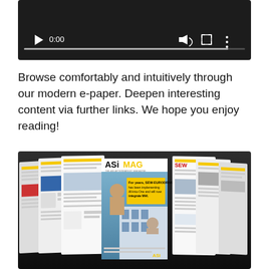[Figure (screenshot): Video player with dark background, showing play button, 0:00 timestamp, volume icon, fullscreen icon, and more options icon, with a progress bar at the bottom]
Browse comfortably and intuitively through our modern e-paper. Deepen interesting content via further links. We hope you enjoy reading!
[Figure (screenshot): ASiMAG magazine e-paper spread showing multiple pages fanned out in 3D perspective, with the center cover prominently displaying the ASiMAG logo in black and yellow, a person's photo and yellow band with text about SEW-EURODRIVE integrating MHI]